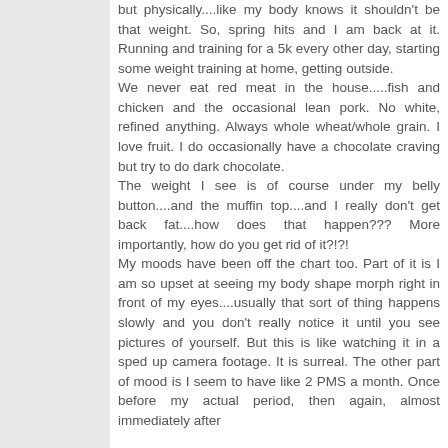but physically....like my body knows it shouldn't be that weight. So, spring hits and I am back at it. Running and training for a 5k every other day, starting some weight training at home, getting outside.
We never eat red meat in the house.....fish and chicken and the occasional lean pork. No white, refined anything. Always whole wheat/whole grain. I love fruit. I do occasionally have a chocolate craving but try to do dark chocolate.
The weight I see is of course under my belly button....and the muffin top....and I really don't get back fat....how does that happen??? More importantly, how do you get rid of it?!?!
My moods have been off the chart too. Part of it is I am so upset at seeing my body shape morph right in front of my eyes....usually that sort of thing happens slowly and you don't really notice it until you see pictures of yourself. But this is like watching it in a sped up camera footage. It is surreal. The other part of mood is I seem to have like 2 PMS a month. Once before my actual period, then again, almost immediately after